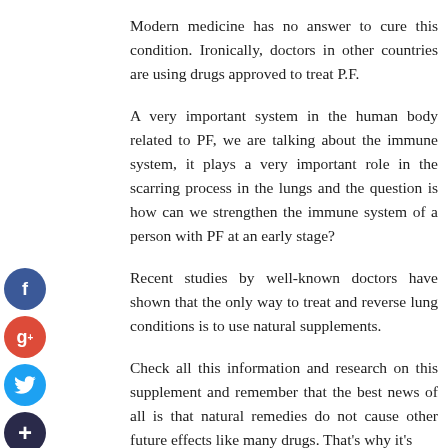Modern medicine has no answer to cure this condition. Ironically, doctors in other countries are using drugs approved to treat P.F.
A very important system in the human body related to PF, we are talking about the immune system, it plays a very important role in the scarring process in the lungs and the question is how can we strengthen the immune system of a person with PF at an early stage?
Recent studies by well-known doctors have shown that the only way to treat and reverse lung conditions is to use natural supplements.
Check all this information and research on this supplement and remember that the best news of all is that natural remedies do not cause other future effects like many drugs. That's why it's